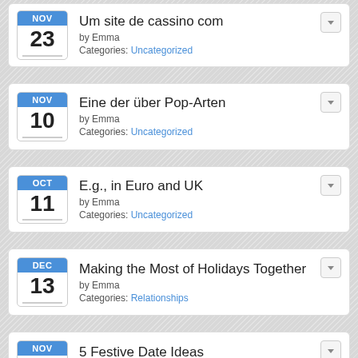Um site de cassino com | NOV 23 | by Emma | Categories: Uncategorized
Eine der über Pop-Arten | NOV 10 | by Emma | Categories: Uncategorized
E.g., in Euro and UK | OCT 11 | by Emma | Categories: Uncategorized
Making the Most of Holidays Together | DEC 13 | by Emma | Categories: Relationships
5 Festive Date Ideas | NOV 29 | by Emma | Categories: Relationships